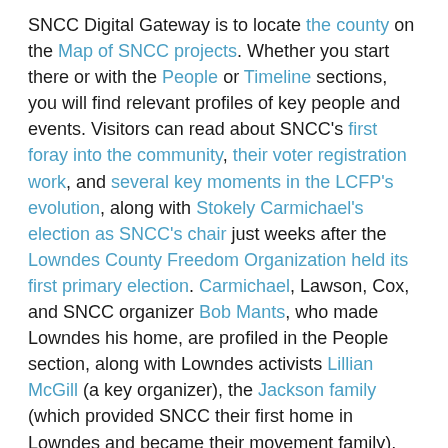SNCC Digital Gateway is to locate the county on the Map of SNCC projects. Whether you start there or with the People or Timeline sections, you will find relevant profiles of key people and events. Visitors can read about SNCC's first foray into the community, their voter registration work, and several key moments in the LCFP's evolution, along with Stokely Carmichael's election as SNCC's chair just weeks after the Lowndes County Freedom Organization held its first primary election. Carmichael, Lawson, Cox, and SNCC organizer Bob Mants, who made Lowndes his home, are profiled in the People section, along with Lowndes activists Lillian McGill (a key organizer), the Jackson family (which provided SNCC their first home in Lowndes and became their movement family), and John Hulett (the first African American in Lowndes to register to vote and the first elected sheriff since Reconstruction), among others. Hulett's powerful May 1966 speech in California is one of the key documents